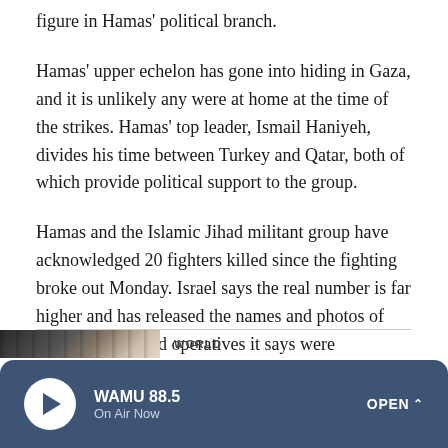figure in Hamas' political branch.
Hamas' upper echelon has gone into hiding in Gaza, and it is unlikely any were at home at the time of the strikes. Hamas' top leader, Ismail Haniyeh, divides his time between Turkey and Qatar, both of which provide political support to the group.
Hamas and the Islamic Jihad militant group have acknowledged 20 fighters killed since the fighting broke out Monday. Israel says the real number is far higher and has released the names and photos of two dozen alleged operatives it says were "eliminated."
WORLD
WAMU 88.5 On Air Now OPEN